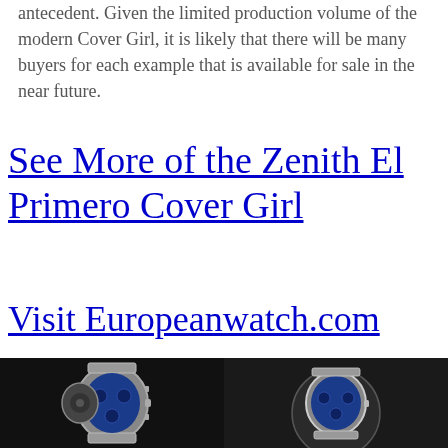antecedent. Given the limited production volume of the modern Cover Girl, it is likely that there will be many buyers for each example that is available for sale in the near future.
See More of the Zenith El Primero Cover Girl
Visit Europeanwatch.com
[Figure (photo): Photo of a Zenith El Primero Cover Girl watch showing the blue dial and chronograph subdials, with bracelet, on dark background]
[Figure (photo): Photo of a Zenith El Primero Cover Girl watch showing the blue dial and Zenith logo, on dark background]